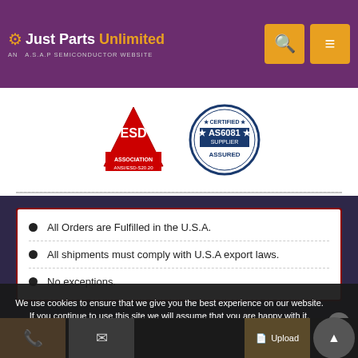Just Parts Unlimited — AN A.S.A.P SEMICONDUCTOR WEBSITE
[Figure (logo): ESD Association ANSI/ESD-S20.20 certification logo]
[Figure (logo): Certified AS6081 Supplier Assured badge]
All Orders are Fulfilled in the U.S.A.
All shipments must comply with U.S.A export laws.
No exceptions.
We use cookies to ensure that we give you the best experience on our website. If you continue to use this site we will assume that you are happy with it.
Yes, I Accept Cookies.